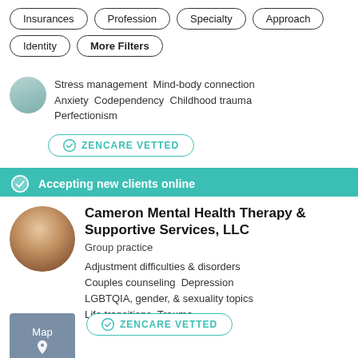Insurances
Profession
Specialty
Approach
Identity
More Filters
Stress management  Mind-body connection  Anxiety  Codependency  Childhood trauma  Perfectionism
ZENCARE VETTED
Accepting new clients online
Cameron Mental Health Therapy & Supportive Services, LLC
Group practice
Adjustment difficulties & disorders
Couples counseling  Depression
LGBTQIA, gender, & sexuality topics
Life transitions  Trauma
ZENCARE VETTED